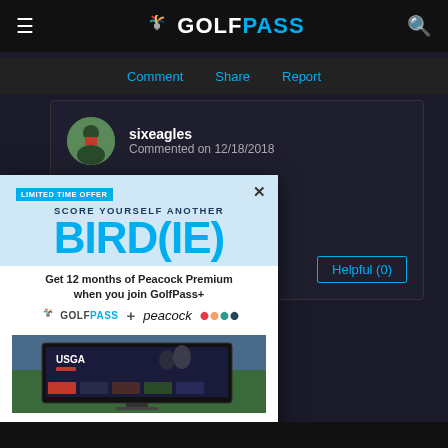[Figure (screenshot): GolfPass website screenshot showing navigation bar, comment section, and promotional ad overlay for GolfPass+ with Peacock Premium offering]
GOLFPASS
Comment  Share  Report
sixeagles
Commented on 12/18/2018
...e north course.
Helpful (0)
[Figure (advertisement): LIMITED TIME OFFER ad overlay: SCORE YOURSELF ANOTHER BIRD(IE) - Get 12 months of Peacock Premium when you join GolfPass+ - GolfPass + peacock logos - USGA screen image - JOIN NOW button - $4.99/mo. ea. val. Eligibility restrictions and terms apply.]